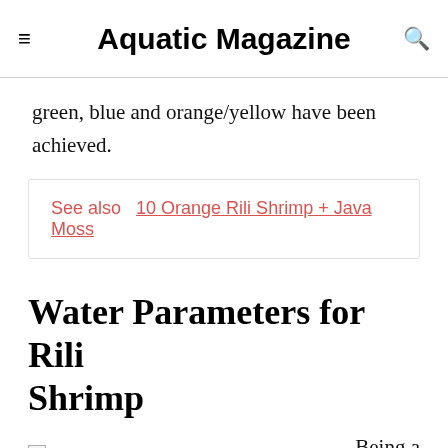≡  Aquatic Magazine  🔍
green, blue and orange/yellow have been achieved.
See also  10 Orange Rili Shrimp + Java Moss
Water Parameters for Rili Shrimp
Rili Shrimp Red Rili Shrimp
Being a